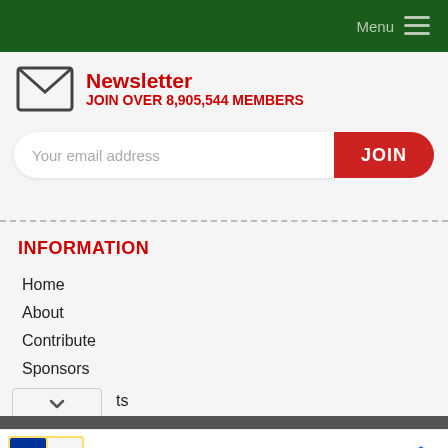Menu
Newsletter
JOIN OVER 8,905,544 MEMBERS
Your email address
INFORMATION
Home
About
Contribute
Sponsors
In-store shopping